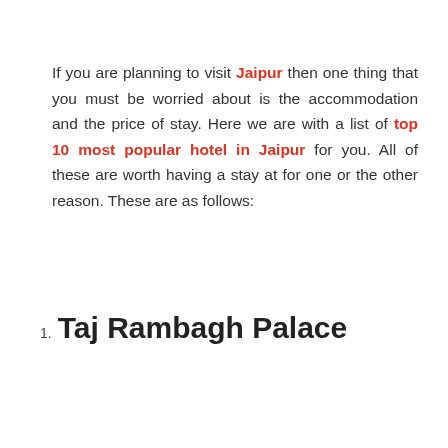If you are planning to visit Jaipur then one thing that you must be worried about is the accommodation and the price of stay. Here we are with a list of top 10 most popular hotel in Jaipur for you. All of these are worth having a stay at for one or the other reason. These are as follows:
1. Taj Rambagh Palace